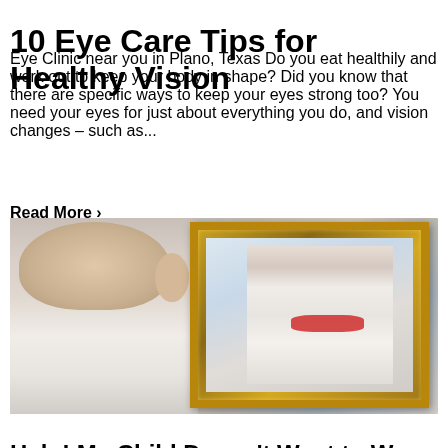10 Eye Care Tips for Healthy Vision
Eye Clinic near you in Plano, Texas Do you eat healthily and work out to keep your body in shape? Did you know that there are specific ways to keep your eyes strong too? You need your eyes for just about everything you do, and vision changes – such as...
Read More ❯
[Figure (photo): A young child seen from behind looking into a gold-framed mirror, with their reflection showing the child trying on red glasses in what appears to be an optical store.]
Help! My Child Doesn't Want to Wear